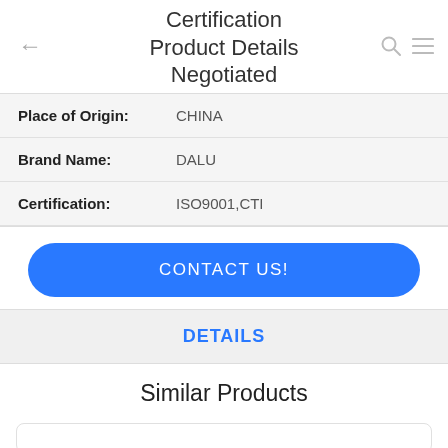Certification
Product Details Negotiated
| Place of Origin: | CHINA |
| Brand Name: | DALU |
| Certification: | ISO9001,CTI |
CONTACT US!
DETAILS
Similar Products